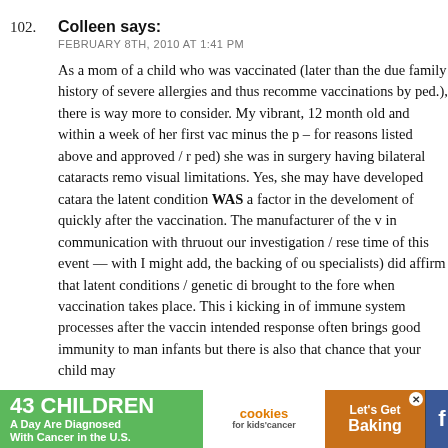102. Colleen says: FEBRUARY 8TH, 2010 AT 1:41 PM
As a mom of a child who was vaccinated (later than the due family history of severe allergies and thus recomme vaccinations by ped.), there is way more to consider. My vibrant, 12 month old and within a week of her first vac minus the p – for reasons listed above and approved / r ped) she was in surgery having bilateral cataracts remo visual limitations. Yes, she may have developed catara the latent condition WAS a factor in the develoment of quickly after the vaccination. The manufacturer of the v in communication with thruout our investigation / rese time of this event — with I might add, the backing of ou specialists) did affirm that latent conditions / genetic di brought to the fore when vaccination takes place. This i kicking in of immune system processes after the vaccin intended response often brings good immunity to man infants but there is also that chance that your child may
[Figure (other): Advertisement banner: '43 CHILDREN A Day Are Diagnosed With Cancer in the U.S.' with cookies for kids' cancer logo and 'Let's Get Baking' text, with social media icons]